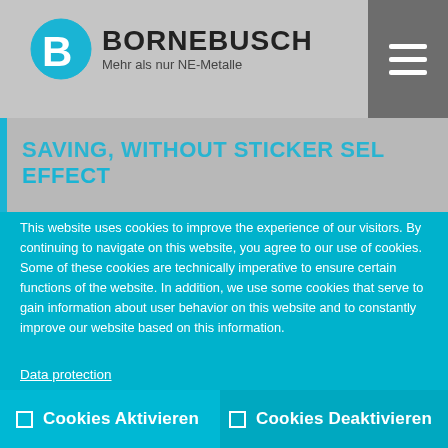BORNEBUSCH — Mehr als nur NE-Metalle
SAVING, WITHOUT STICKER SEL EFFECT
The maintenance-free, space-saving dry bearings are bearing bushings available with
This website uses cookies to improve the experience of our visitors. By continuing to navigate on this website, you agree to our use of cookies. Some of these cookies are technically imperative to ensure certain functions of the website. In addition, we use some cookies that serve to gain information about user behavior on this website and to constantly improve our website based on this information.
Data protection
Cookies Aktivieren
Cookies Deaktivieren